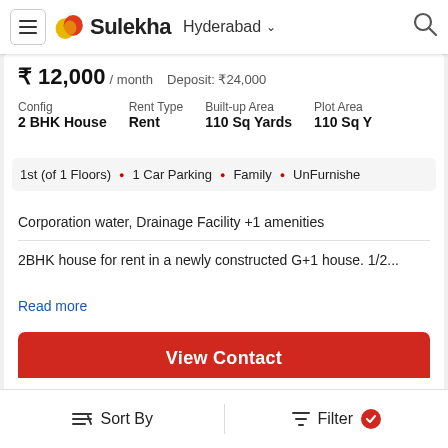Sulekha — Hyderabad
₹ 12,000 / month  Deposit: ₹24,000
Config: 2 BHK House | Rent Type: Rent | Built-up Area: 110 Sq Yards | Plot Area: 110 Sq Yards
1st (of 1 Floors) • 1 Car Parking • Family • UnFurnished
Corporation water, Drainage Facility +1 amenities
2BHK house for rent in a newly constructed G+1 house. 1/2...
Read more
View Contact
Sort By  Filter